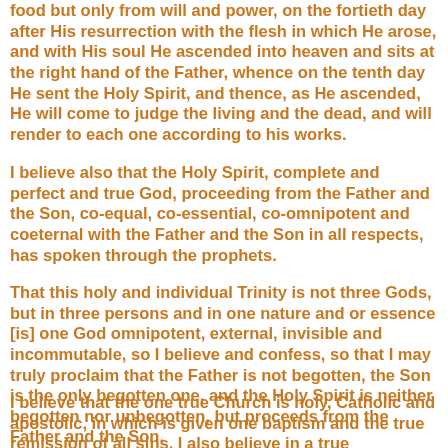food but only from will and power, on the fortieth day after His resurrection with the flesh in which He arose, and with His soul He ascended into heaven and sits at the right hand of the Father, whence on the tenth day He sent the Holy Spirit, and thence, as He ascended, He will come to judge the living and the dead, and will render to each one according to his works.
I believe also that the Holy Spirit, complete and perfect and true God, proceeding from the Father and the Son, co-equal, co-essential, co-omnipotent and coeternal with the Father and the Son in all respects, has spoken through the prophets.
That this holy and individual Trinity is not three Gods, but in three persons and in one nature and or essence [is] one God omnipotent, external, invisible and incommutable, so I believe and confess, so that I may truly proclaim that the Father is not begotten, the Son is the only begotten one, and the Holy Spirit is neither begotten nor unbegotten, but proceeds from the Father and the Son.
I believe that the one true Church is holy, Catholic and apostolic, in which is given one baptism and the true remission of all sins. I also believe in a true resurrection of this body, which now I bear, and in eternal life.